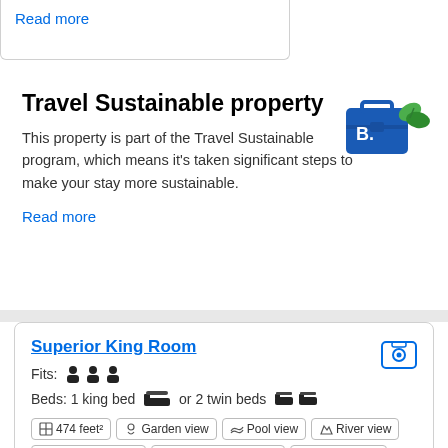Read more
Travel Sustainable property
[Figure (logo): Booking.com Travel Sustainable badge — blue briefcase with green leaves]
This property is part of the Travel Sustainable program, which means it's taken significant steps to make your stay more sustainable.
Read more
Superior King Room
Fits: [3 person icons]
Beds: 1 king bed [icon] or 2 twin beds [icon] [icon]
474 feet²
Garden view
Pool view
River view
Air conditioning
Attached bathroom
Refrigerator
Tea/Coffee maker
Free WiFi